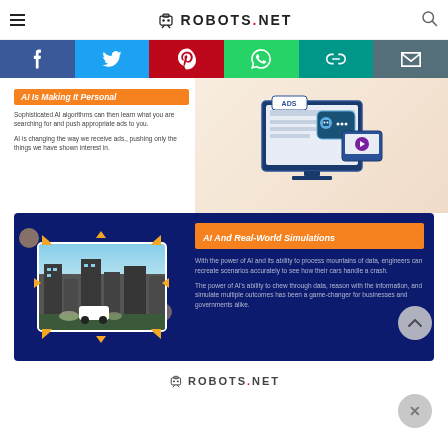ROBOTS.NET
[Figure (infographic): Social sharing bar with Facebook (blue), Twitter (light blue), Pinterest (red), WhatsApp (green), chain-link (teal), and email (dark gray) icons]
AI Is Making It Personal
Sophisticated AI algorithms can then learn what you are searching for and push appropriate ads to you.
AI is changing the way we receive ads., pushing only the things we have shown interest in.
[Figure (illustration): Illustration of a computer monitor displaying ADS with a robot chat bubble and a play button on a device screen]
AI And Real-World Simulations
With the power of AI and its ability to process mountains of data, engineers can recreate scenarios accurately to see how their cars handle a crash.
The power of AI's ability to chew through data, reason with the information, and simulate multiple outcomes has been a game-changer for businesses and governments alike.
[Figure (illustration): Dark blue banner with a city skyline game scene on left and AI simulation text on right, with ROBOTS.NET logo at bottom]
ROBOTS.NET